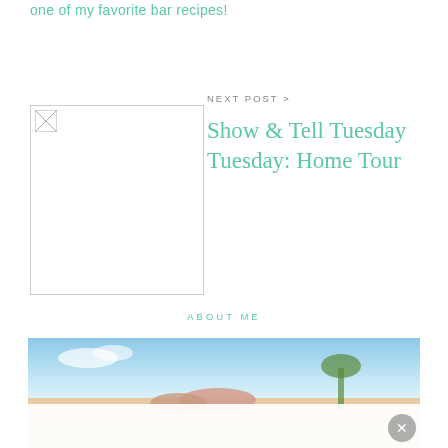one of my favorite bar recipes!
NEXT POST >
[Figure (photo): Thumbnail image placeholder for next post about Show & Tell Tuesday Home Tour]
Show & Tell Tuesday Tuesday: Home Tour
ABOUT ME
[Figure (photo): Beach scene photo showing a person at a tropical beach with blue sky and palm trees, partially overlaid by an advertisement banner]